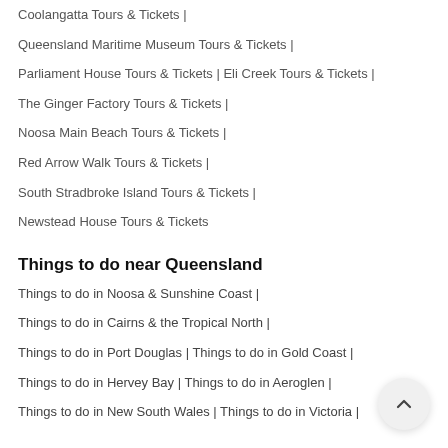Coolangatta Tours & Tickets |
Queensland Maritime Museum Tours & Tickets |
Parliament House Tours & Tickets | Eli Creek Tours & Tickets |
The Ginger Factory Tours & Tickets |
Noosa Main Beach Tours & Tickets |
Red Arrow Walk Tours & Tickets |
South Stradbroke Island Tours & Tickets |
Newstead House Tours & Tickets
Things to do near Queensland
Things to do in Noosa & Sunshine Coast |
Things to do in Cairns & the Tropical North |
Things to do in Port Douglas | Things to do in Gold Coast |
Things to do in Hervey Bay | Things to do in Aeroglen |
Things to do in New South Wales | Things to do in Victoria |